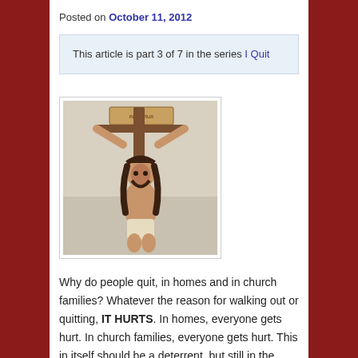Posted on October 11, 2012
This article is part 3 of 7 in the series I Quit
[Figure (photo): A figure of Jesus Christ on the cross, long dark hair, carrying a wooden beam, with a sign above.]
Why do people quit, in homes and in church families? Whatever the reason for walking out or quitting, IT HURTS. In homes, everyone gets hurt. In church families, everyone gets hurt. This in itself should be a deterrent, but still in the USA, the divorce rate is still 50%, and in church families, well just look at the situation with congregations you know.
Now NOT ALL church families 'divorce', some happily